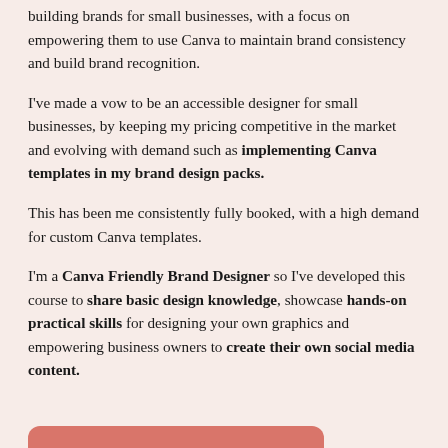building brands for small businesses, with a focus on empowering them to use Canva to maintain brand consistency and build brand recognition.
I've made a vow to be an accessible designer for small businesses, by keeping my pricing competitive in the market and evolving with demand such as implementing Canva templates in my brand design packs.
This has been me consistently fully booked, with a high demand for custom Canva templates.
I'm a Canva Friendly Brand Designer so I've developed this course to share basic design knowledge, showcase hands-on practical skills for designing your own graphics and empowering business owners to create their own social media content.